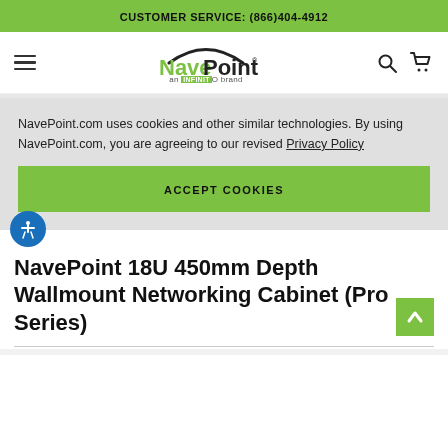CUSTOMER SERVICE: (866)404-4912
[Figure (logo): NavePoint logo - green 'Nave' and black 'Point' text with arc, subtitle 'an INFINITO brand']
NavePoint.com uses cookies and other similar technologies. By using NavePoint.com, you are agreeing to our revised Privacy Policy
ACCEPT COOKIES
NavePoint 18U 450mm Depth Wallmount Networking Cabinet (Pro Series)